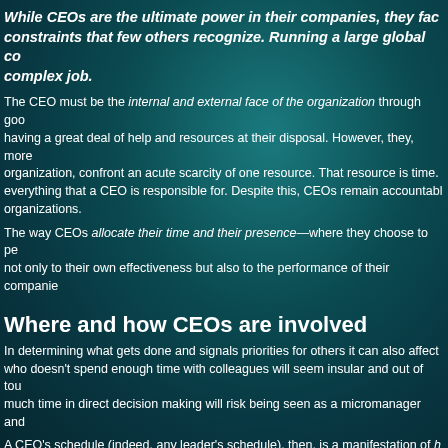While CEOs are the ultimate power in their companies, they face constraints that few others recognize. Running a large global co... complex job.
The CEO must be the internal and external face of the organization through good... having a great deal of help and resources at their disposal. However, they, more... organization, confront an acute scarcity of one resource. That resource is time. everything that a CEO is responsible for. Despite this, CEOs remain accountable... organizations.
The way CEOs allocate their time and their presence—where they choose to pe... not only to their own effectiveness but also to the performance of their companie...
Where and how CEOs are involved
In determining what gets done and signals priorities for others it can also affect... who doesn't spend enough time with colleagues will seem insular and out of tou... much time in direct decision making will risk being seen as a micromanager and...
A CEO's schedule (indeed, any leader's schedule), then, is a manifestation of h... powerful messages to the rest of the organization.
A crucial missing link in understanding the time allocation of CEOs—and makin... systematic data on what they actually do.